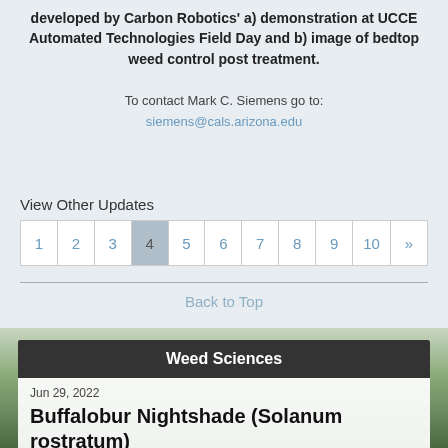developed by Carbon Robotics' a) demonstration at UCCE Automated Technologies Field Day and b) image of bedtop weed control post treatment.
To contact Mark C. Siemens go to: siemens@cals.arizona.edu
View Other Updates
1 2 3 4 5 6 7 8 9 10 »
Back to Top
Weed Sciences
Jun 29, 2022
Buffalobur Nightshade (Solanum rostratum)